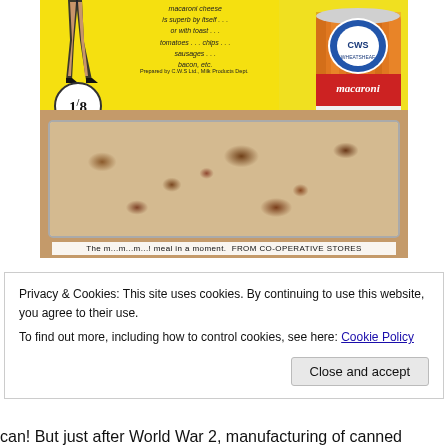[Figure (photo): Vintage advertisement for CWS Wheatsheaf Macaroni Cheese canned product. Shows a woman's legs in heels on a yellow background, a tin can with 'macaroni cheese' label, a price circle reading '1/8', text listing serving suggestions, and a baked macaroni cheese dish in a tray. Bottom tagline: 'The m...m...m...! meal in a moment. FROM CO-OPERATIVE STORES'. Prepared by C.W.S Ltd., Milk Products Dept.]
Privacy & Cookies: This site uses cookies. By continuing to use this website, you agree to their use.
To find out more, including how to control cookies, see here: Cookie Policy
can! But just after World War 2, manufacturing of canned